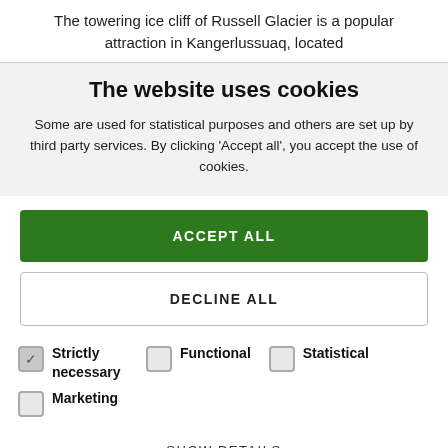The towering ice cliff of Russell Glacier is a popular attraction in Kangerlussuaq, located
The website uses cookies
Some are used for statistical purposes and others are set up by third party services. By clicking ‘Accept all’, you accept the use of cookies.
ACCEPT ALL
DECLINE ALL
Strictly necessary
Functional
Statistical
Marketing
SHOW DETAILS